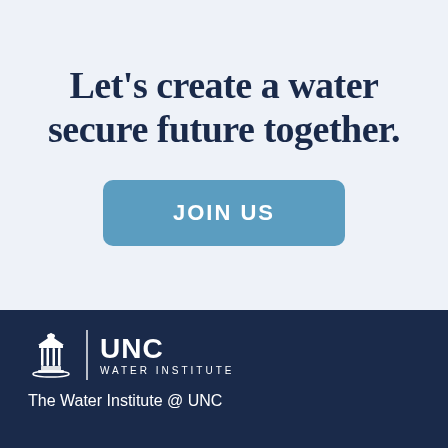Let's create a water secure future together.
JOIN US
[Figure (logo): UNC Water Institute logo — Old Well building icon, vertical divider, UNC in large text with WATER INSTITUTE below]
The Water Institute @ UNC